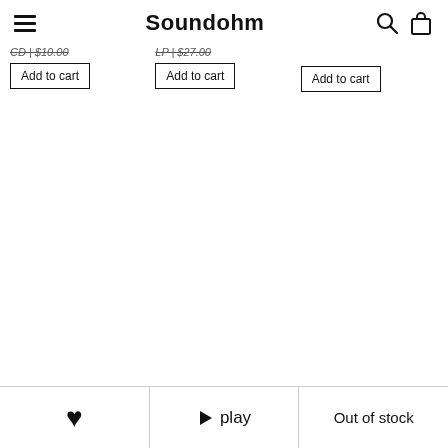Soundohm
CD | $10.00
LP | $27.00
Add to cart (third column)
Add to cart (first column)
Add to cart (second column)
❤  ▶ play  Out of stock